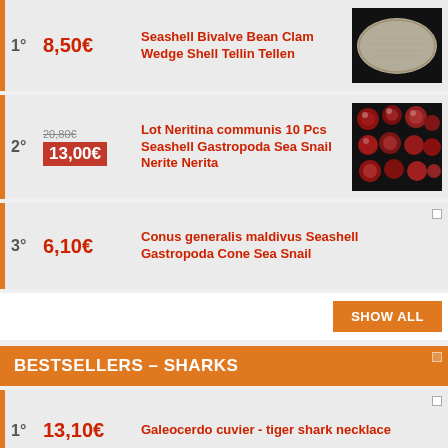1° 8,50€ Seashell Bivalve Bean Clam Wedge Shell Tellin Tellen
2° 20,80€ / 13,00€ Lot Neritina communis 10 Pcs Seashell Gastropoda Sea Snail Nerite Nerita
3° 6,10€ Conus generalis maldivus Seashell Gastropoda Cone Sea Snail
SHOW ALL
BESTSELLERS – SHARKS
1° 13,10€ Galeocerdo cuvier - tiger shark necklace
2° 9,40€ Carcharhinus leucas Bull Shark's Tooth (1)